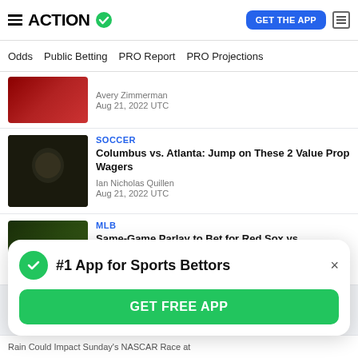ACTION | GET THE APP
Odds | Public Betting | PRO Report | PRO Projections
Avery Zimmerman
Aug 21, 2022 UTC
SOCCER
Columbus vs. Atlanta: Jump on These 2 Value Prop Wagers
Ian Nicholas Quillen
Aug 21, 2022 UTC
MLB
Same-Game Parlay to Bet for Red Sox vs.
#1 App for Sports Bettors
GET FREE APP
Rain Could Impact Sunday's NASCAR Race at